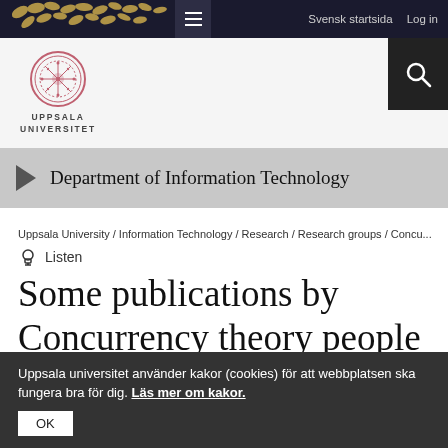Svensk startsida  Log in
[Figure (logo): Uppsala Universitet circular seal logo in red/pink]
Department of Information Technology
Uppsala University / Information Technology / Research / Research groups / Concu...
Listen
Some publications by Concurrency theory people
Uppsala universitet använder kakor (cookies) för att webbplatsen ska fungera bra för dig. Läs mer om kakor.